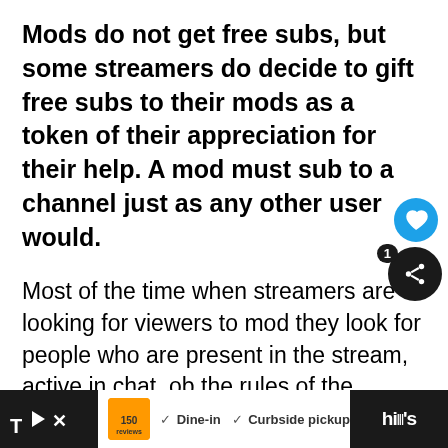Mods do not get free subs, but some streamers do decide to gift free subs to their mods as a token of their appreciation for their help. A mod must sub to a channel just as any other user would.
Most of the time when streamers are looking for viewers to mod they look for people who are present in the stream, active in chat, ob[ey] the rules of the stream, frequently donate to the stream and lastly people who have been subbed for a long time.
[Figure (screenshot): Advertisement banner at bottom showing a restaurant listing with Dine-in and Curbside pickup options, with play and close buttons on the left dark strip, and partial text on the right dark strip.]